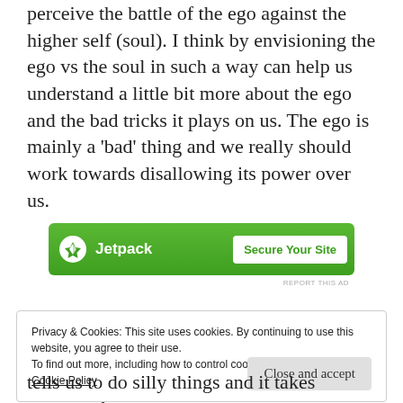perceive the battle of the ego against the higher self (soul). I think by envisioning the ego vs the soul in such a way can help us understand a little bit more about the ego and the bad tricks it plays on us. The ego is mainly a 'bad' thing and we really should work towards disallowing its power over us.
[Figure (other): Jetpack advertisement banner with green background showing Jetpack logo and 'Secure Your Site' button]
REPORT THIS AD
Privacy & Cookies: This site uses cookies. By continuing to use this website, you agree to their use.
To find out more, including how to control cookies, see here:
Cookie Policy

Close and accept
tells us to do silly things and it takes control of